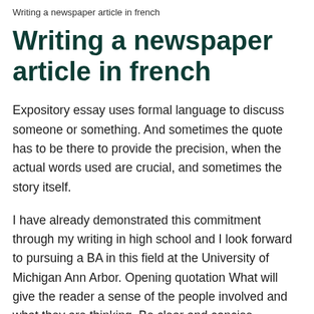Writing a newspaper article in french
Writing a newspaper article in french
Expository essay uses formal language to discuss someone or something. And sometimes the quote has to be there to provide the precision, when the actual words used are crucial, and sometimes the story itself.
I have already demonstrated this commitment through my writing in high school and I look forward to pursuing a BA in this field at the University of Michigan Ann Arbor. Opening quotation What will give the reader a sense of the people involved and what they are thinking. Be clear and concise.
Lastly, leads should not contain jargon, as this can exclude